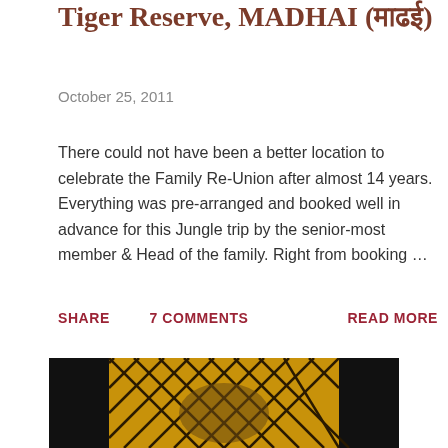Tiger Reserve, MADHAI (माढई)
October 25, 2011
There could not have been a better location to celebrate the Family Re-Union after almost 14 years. Everything was pre-arranged and booked well in advance for this Jungle trip by the senior-most member & Head of the family. Right from booking …
SHARE   7 COMMENTS   READ MORE
[Figure (photo): A photograph showing a tiger or patterned surface (yellow/gold with dark diamond grid pattern), partially framed by black borders on the sides, taken at Madhai Tiger Reserve.]